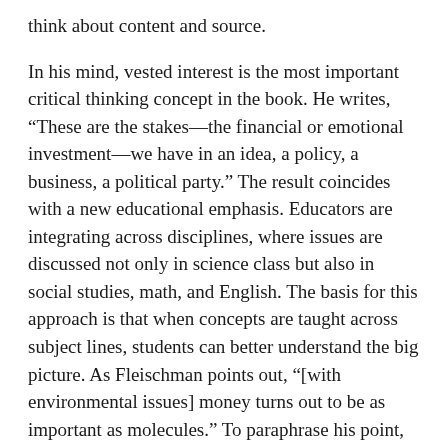think about content and source.
In his mind, vested interest is the most important critical thinking concept in the book. He writes, “These are the stakes—the financial or emotional investment—we have in an idea, a policy, a business, a political party.” The result coincides with a new educational emphasis. Educators are integrating across disciplines, where issues are discussed not only in science class but also in social studies, math, and English. The basis for this approach is that when concepts are taught across subject lines, students can better understand the big picture. As Fleischman points out, “[with environmental issues] money turns out to be as important as molecules.” To paraphrase his point, “How can we teach environmental education without equipping students with a basic understanding of economics?”
“Eyes Wide Open” equips its readers with a literal toolbox of